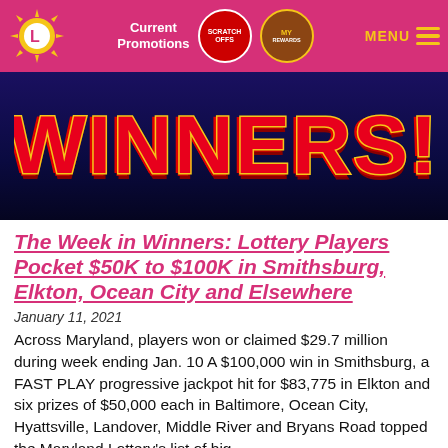[Figure (screenshot): Maryland Lottery website navigation bar with pink background, lottery sun logo, Current Promotions text, Scratch Offs badge, My Rewards badge, and golden MENU with hamburger icon]
[Figure (photo): Hero image banner showing large retro-style text 'WINNERS!' in red with yellow outline on a dark navy/blue background]
The Week in Winners: Lottery Players Pocket $50K to $100K in Smithsburg, Elkton, Ocean City and Elsewhere
January 11, 2021
Across Maryland, players won or claimed $29.7 million during week ending Jan. 10 A $100,000 win in Smithsburg, a FAST PLAY progressive jackpot hit for $83,775 in Elkton and six prizes of $50,000 each in Baltimore, Ocean City, Hyattsville, Landover, Middle River and Bryans Road topped the Maryland Lottery's list of big